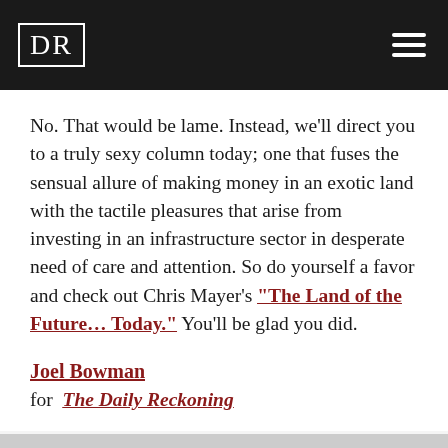DR
No. That would be lame. Instead, we’ll direct you to a truly sexy column today; one that fuses the sensual allure of making money in an exotic land with the tactile pleasures that arise from investing in an infrastructure sector in desperate need of care and attention. So do yourself a favor and check out Chris Mayer’s “The Land of the Future… Today.” You’ll be glad you did.
Joel Bowman
for  The Daily Reckoning